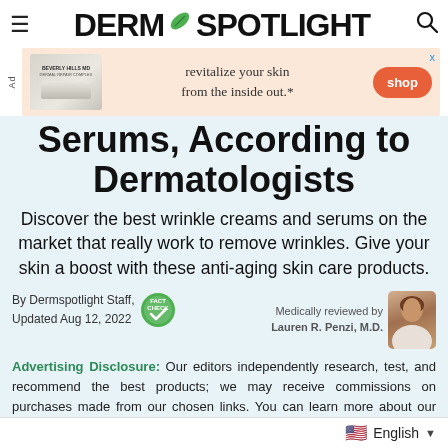DERM SPOTLIGHT
[Figure (other): Advertisement banner for Beverly Hills MD skin product: 'revitalize your skin from the inside out.*' with shop button]
Serums, According to Dermatologists
Discover the best wrinkle creams and serums on the market that really work to remove wrinkles. Give your skin a boost with these anti-aging skin care products.
By Dermspotlight Staff, Updated Aug 12, 2022 | Medically reviewed by Lauren R. Penzi, M.D.
Advertising Disclosure: Our editors independently research, test, and recommend the best products; we may receive commissions on purchases made from our chosen links. You can learn more about our review process here.
English